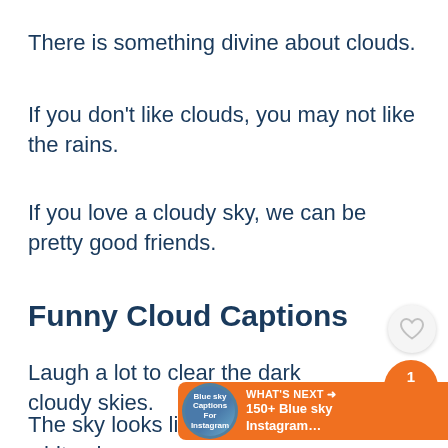There is something divine about clouds.
If you don't like clouds, you may not like the rains.
If you love a cloudy sky, we can be pretty good friends.
Funny Cloud Captions
Laugh a lot to clear the dark cloudy skies.
The sky looks like a blue tablecloth with white cheese.